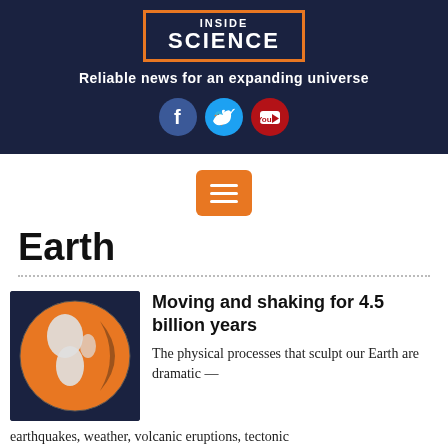[Figure (logo): Inside Science logo — text INSIDE SCIENCE in white inside an orange-bordered rectangle, on dark navy background]
Reliable news for an expanding universe
[Figure (infographic): Social media icons: Facebook (blue circle with f), Twitter (cyan circle with bird), YouTube (red circle with play button)]
[Figure (other): Orange hamburger menu button with three white horizontal lines]
Earth
[Figure (illustration): Globe illustration with orange and white continents on dark navy background]
Moving and shaking for 4.5 billion years
The physical processes that sculpt our Earth are dramatic — earthquakes, weather, volcanic eruptions, tectonic